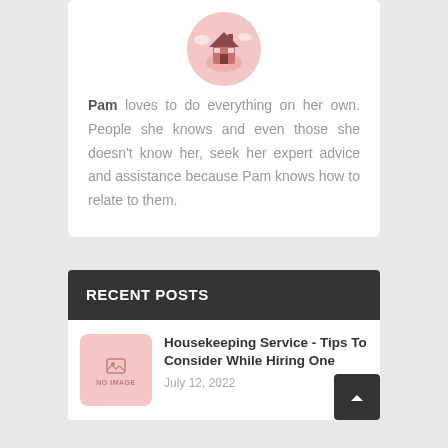[Figure (illustration): Circular avatar image with anime-style character illustration on pink background]
Pam loves to do everything on her own. People she knows and even those she doesn't know her, seek her expert advice and assistance because Pam knows how to relate to them.
RECENT POSTS
[Figure (photo): No image placeholder thumbnail with pink background]
Housekeeping Service - Tips To Consider While Hiring One
July 12, 2022